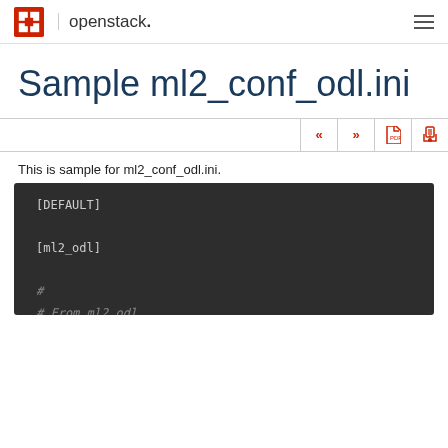openstack.
Sample ml2_conf_odl.ini
This is sample for ml2_conf_odl.ini.
[DEFAULT]

[ml2_odl]

#
# From ml2_odl